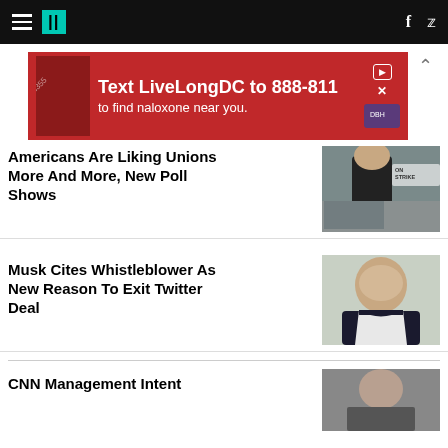HuffPost navigation with hamburger menu, logo, Facebook and Twitter icons
[Figure (photo): Red advertisement banner: Text LiveLongDC to 888-811 to find naloxone near you. With play and close controls.]
Americans Are Liking Unions More And More, New Poll Shows
[Figure (photo): Person in black hoodie holding an On Strike picket sign]
Musk Cites Whistleblower As New Reason To Exit Twitter Deal
[Figure (photo): Elon Musk smiling, wearing dark suit]
CNN Management Intent